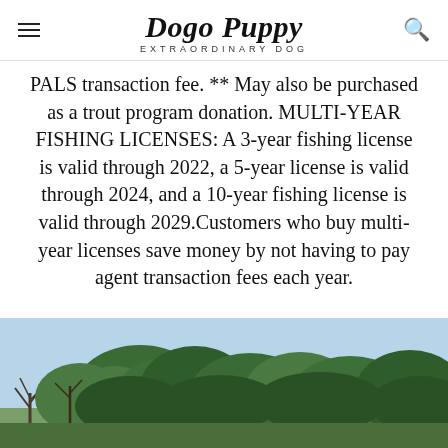Dogo Puppy EXTRAORDINARY DOG
PALS transaction fee. ** May also be purchased as a trout program donation. MULTI-YEAR FISHING LICENSES: A 3-year fishing license is valid through 2022, a 5-year license is valid through 2024, and a 10-year fishing license is valid through 2029.Customers who buy multi-year licenses save money by not having to pay agent transaction fees each year.
[Figure (photo): Outdoor landscape photo showing trees with green foliage against a light blue sky.]